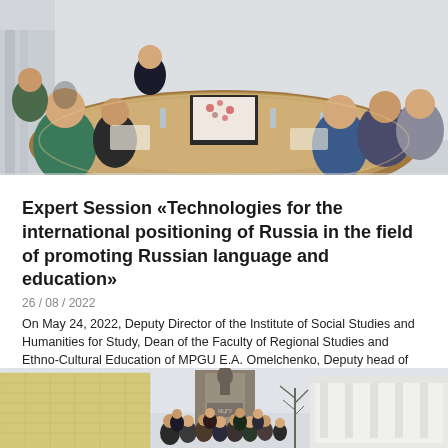[Figure (photo): Group of people seated around a large oval conference table in a meeting room, with a monitor/screen visible on the table. Women and men in business attire.]
Expert Session «Technologies for the international positioning of Russia in the field of promoting Russian language and education»
26 / 08 / 2022
On May 24, 2022, Deputy Director of the Institute of Social Studies and Humanities for Study, Dean of the Faculty of Regional Studies and Ethno-Cultural Education of MPGU E.A. Omelchenko, Deputy head of the International Relations Office O.A. Morozova and Head...
[Figure (photo): Group of people standing outside in front of a monument/building. A large group photo with a historic building visible in the background.]